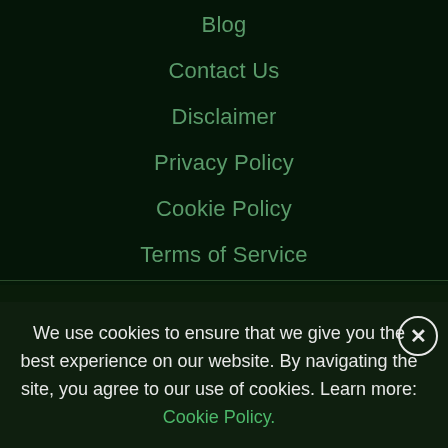Blog
Contact Us
Disclaimer
Privacy Policy
Cookie Policy
Terms of Service
We use cookies to ensure that we give you the best experience on our website. By navigating the site, you agree to our use of cookies. Learn more: Cookie Policy.
Website built and maintained by PlayNANO.